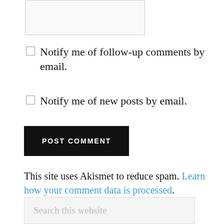Notify me of follow-up comments by email.
Notify me of new posts by email.
POST COMMENT
This site uses Akismet to reduce spam. Learn how your comment data is processed.
Search this website